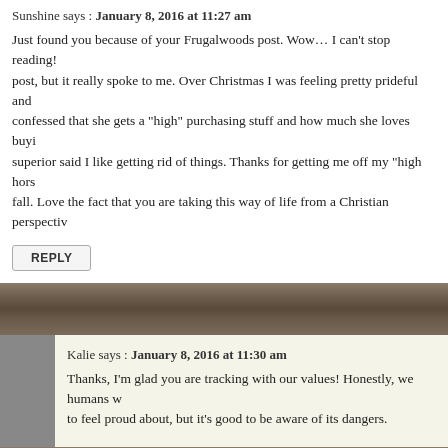Sunshine says : January 8, 2016 at 11:27 am
Just found you because of your Frugalwoods post. Wow… I can't stop reading! I am new to your post, but it really spoke to me. Over Christmas I was feeling pretty prideful and confessed that she gets a "high" purchasing stuff and how much she loves buying superior said I like getting rid of things. Thanks for getting me off my "high horse" fall. Love the fact that you are taking this way of life from a Christian perspective
REPLY
Kalie says : January 8, 2016 at 11:30 am
Thanks, I'm glad you are tracking with our values! Honestly, we humans w to feel proud about, but it's good to be aware of its dangers.
Lisa says : January 11, 2016 at 9:14 am
Just came across this through Blonde on a Budget. Love the name of the blog! for two years since we downsized from a 2700 sf to 1300 sf home. Since Janua again gone through every room in the house with the hopes of being able to ge anything! I find that sometimes I am too emotionally attached to certain things a